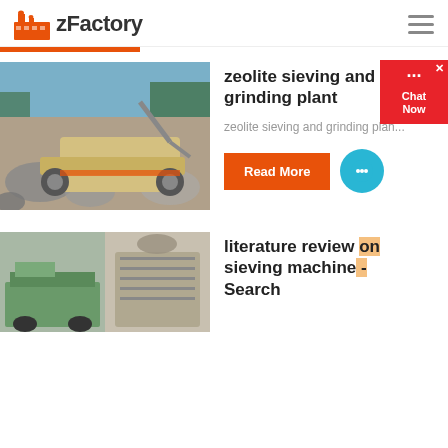zFactory
[Figure (photo): Industrial stone crushing/mining machine in a quarry with rocks and excavator in background]
zeolite sieving and grinding plant
zeolite sieving and grinding plan...
Read More
[Figure (photo): Two images side by side: a vehicle on the left and a large industrial sieving structure on the right]
literature review on sieving machine - Search